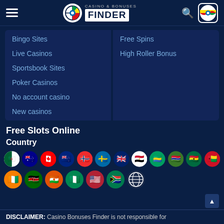Casino & Bonuses Finder
Bingo Sites
Live Casinos
Sportsbook Sites
Poker Casinos
No account casino
New casinos
Free Spins
High Roller Bonus
Free Slots Online
Country
[Figure (infographic): Two rows of circular country flag icons representing various countries including Algeria, Australia, Canada, New Zealand, Norway, Sweden, UK, Egypt, Gabon, Gambia, Ghana, Guinea-Bissau, Ivory Coast, Kenya, Niger, Nigeria, USA, South Africa, and a globe icon.]
DISCLAIMER: Casino Bonuses Finder is not responsible for